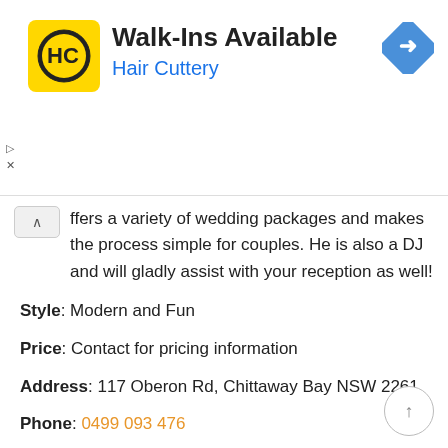[Figure (logo): Hair Cuttery logo - yellow square with HC letters in black circle]
Walk-Ins Available
Hair Cuttery
[Figure (other): Blue diamond navigation/directions icon]
ffers a variety of wedding packages and makes the process simple for couples. He is also a DJ and will gladly assist with your reception as well!
Style: Modern and Fun
Price: Contact for pricing information
Address: 117 Oberon Rd, Chittaway Bay NSW 2261
Phone: 0499 093 476
Social: Jeff Hindmarsh